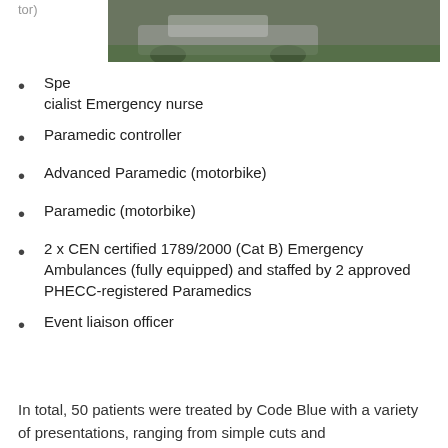[Figure (photo): Outdoor photo of a vehicle or equipment on grass, partially visible at top of page]
Spe cialist Emergency nurse
Paramedic controller
Advanced Paramedic (motorbike)
Paramedic (motorbike)
2 x CEN certified 1789/2000 (Cat B) Emergency Ambulances (fully equipped) and staffed by 2 approved PHECC-registered Paramedics
Event liaison officer
In total, 50 patients were treated by Code Blue with a variety of presentations, ranging from simple cuts and